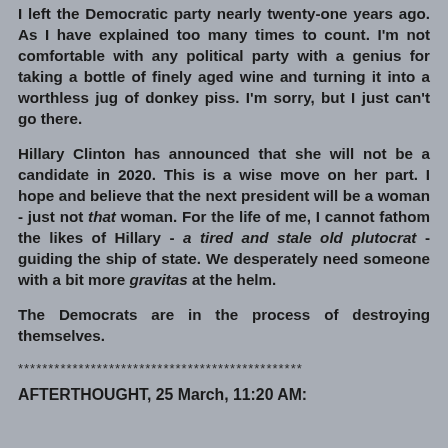I left the Democratic party nearly twenty-one years ago. As I have explained too many times to count. I'm not comfortable with any political party with a genius for taking a bottle of finely aged wine and turning it into a worthless jug of donkey piss. I'm sorry, but I just can't go there.
Hillary Clinton has announced that she will not be a candidate in 2020. This is a wise move on her part. I hope and believe that the next president will be a woman - just not that woman. For the life of me, I cannot fathom the likes of Hillary - a tired and stale old plutocrat - guiding the ship of state. We desperately need someone with a bit more gravitas at the helm.
The Democrats are in the process of destroying themselves.
***********************************************
AFTERTHOUGHT, 25 March, 11:20 AM: